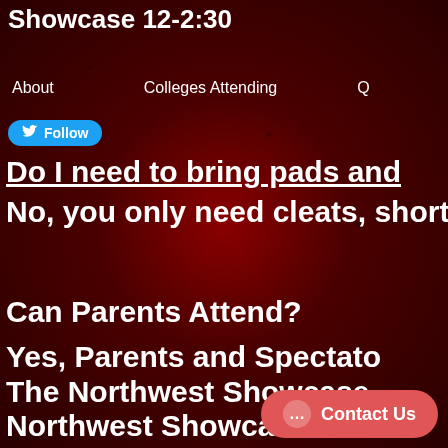Showcase 12-2:30
About   Colleges Attending   Q
Follow
Do I need to bring pads and
No, you only need cleats, shorts
Can Parents Attend?
Yes, Parents and Spectators The Northwest Showcase. Northwest Showcase.
Contact Us